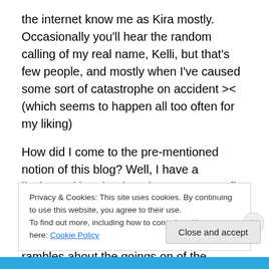the internet know me as Kira mostly. Occasionally you'll hear the random calling of my real name, Kelli, but that's few people, and mostly when I've caused some sort of catastrophe on accident >< (which seems to happen all too often for my liking)
How did I come to the pre-mentioned notion of this blog? Well, I have a livejournal but that just doesnt seem to fit my idea of a blog. Plus, hardly anyone on my friend's list plays MMO's so I feel weird clogging up their friend's page with my rambles about the goings on of the gaming world.
Privacy & Cookies: This site uses cookies. By continuing to use this website, you agree to their use.
To find out more, including how to control cookies, see here: Cookie Policy